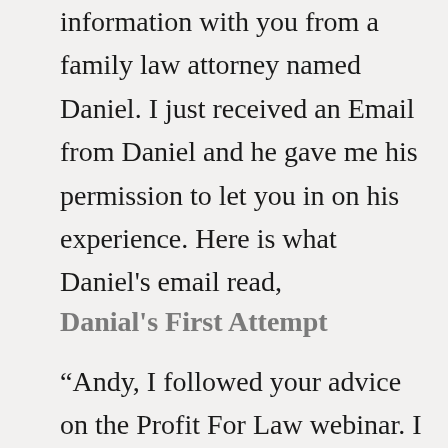information with you from a family law attorney named Daniel. I just received an Email from Daniel and he gave me his permission to let you in on his experience. Here is what Daniel's email read,
Danial's First Attempt
“Andy, I followed your advice on the Profit For Law webinar. I